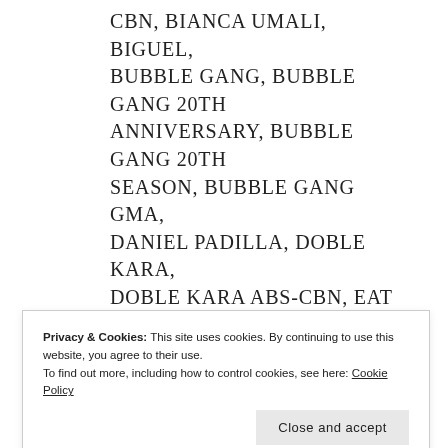CBN, BIANCA UMALI, BIGUEL, BUBBLE GANG, BUBBLE GANG 20TH ANNIVERSARY, BUBBLE GANG 20TH SEASON, BUBBLE GANG GMA, DANIEL PADILLA, DOBLE KARA, DOBLE KARA ABS-CBN, EAT BULAGA, EAT BULAGA GMA, EAT BULAGA TAPE, ENRIQUE GIL, FLORDELIZA, FLORDELIZA ABS-CBN, FOREVERMORE, FOREVERMORE ABS-CBN, GABBI GARCIA, GABRU, GMA, GMA AFTERNOON PRIME, GMA NETWORK, GMA TELEBABAD, JADINE, JAMES REID, JANA AGONCILLO, JANELLA SALVADOR, JOSE MANALO, KALYESERYE, KAPAMILYA GOLD, KATHNIEL, KATHRYN BERNARDO, LET THE LOVE FLOW, LET THE LOVE FLOW...
Privacy & Cookies: This site uses cookies. By continuing to use this website, you agree to their use. To find out more, including how to control cookies, see here: Cookie Policy
Close and accept
NANG KAILANGAN KITA ABS-CBN, NANG KAILANGAN KITA ABS-CBN...